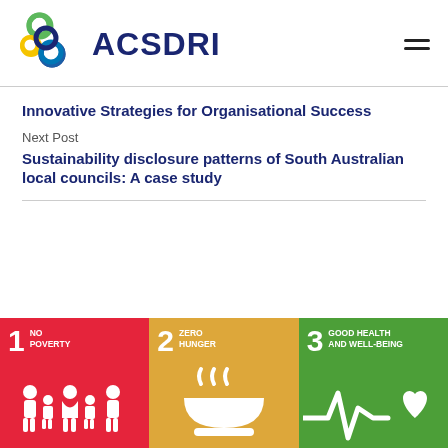[Figure (logo): ACSDRI logo with colorful circular rings and bold navy text]
Innovative Strategies for Organisational Success
Next Post
Sustainability disclosure patterns of South Australian local councils: A case study
[Figure (infographic): Three UN Sustainable Development Goals tiles: 1 No Poverty (red), 2 Zero Hunger (gold), 3 Good Health and Well-Being (green)]